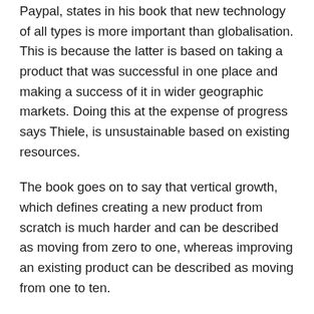Paypal, states in his book that new technology of all types is more important than globalisation. This is because the latter is based on taking a product that was successful in one place and making a success of it in wider geographic markets. Doing this at the expense of progress says Thiele, is unsustainable based on existing resources.
The book goes on to say that vertical growth, which defines creating a new product from scratch is much harder and can be described as moving from zero to one, whereas improving an existing product can be described as moving from one to ten.
Having recently joined NatWest's Entrepreneurship mentoring program, E-Sparks, this really struck a chord with me. Having met so many people, young and old.